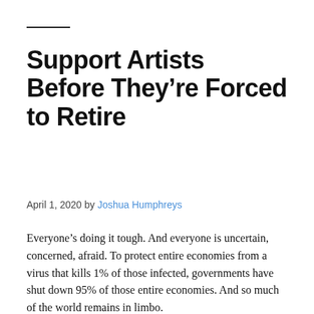Support Artists Before They’re Forced to Retire
April 1, 2020 by Joshua Humphreys
Everyone’s doing it tough. And everyone is uncertain, concerned, afraid. To protect entire economies from a virus that kills 1% of those infected, governments have shut down 95% of those entire economies. And so much of the world remains in limbo.